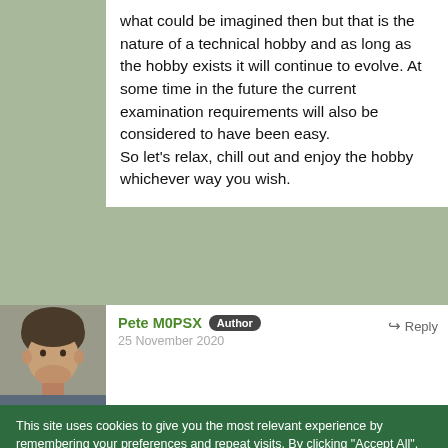what could be imagined then but that is the nature of a technical hobby and as long as the hobby exists it will continue to evolve. At some time in the future the current examination requirements will also be considered to have been easy.
So let's relax, chill out and enjoy the hobby whichever way you wish.
[Figure (photo): Avatar photo of Pete M0PSX, a man with brown hair]
Pete M0PSX Author
25 November 2020
Reply
This site uses cookies to give you the most relevant experience by remembering your preferences and repeat visits. By clicking "Accept All", you consent to the use of all cookies, however you can select "Cookie Settings" to control your consent. View Terms & Privacy Policy
Cookie Settings   Accept All